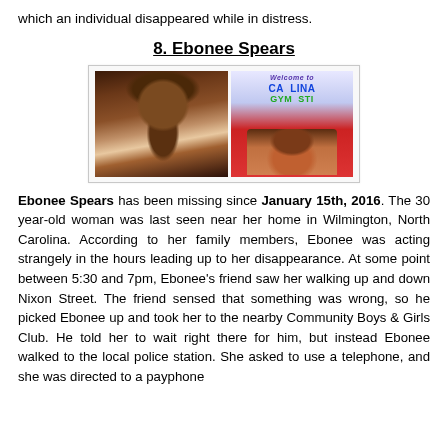which an individual disappeared while in distress.
8. Ebonee Spears
[Figure (photo): Two photos of Ebonee Spears side by side. Left photo shows a woman with long braids. Right photo shows a woman smiling in an orange/red shirt in front of a Carolina Gymnastics sign.]
Ebonee Spears has been missing since January 15th, 2016. The 30 year-old woman was last seen near her home in Wilmington, North Carolina. According to her family members, Ebonee was acting strangely in the hours leading up to her disappearance. At some point between 5:30 and 7pm, Ebonee's friend saw her walking up and down Nixon Street. The friend sensed that something was wrong, so he picked Ebonee up and took her to the nearby Community Boys & Girls Club. He told her to wait right there for him, but instead Ebonee walked to the local police station. She asked to use a telephone, and she was directed to a payphone